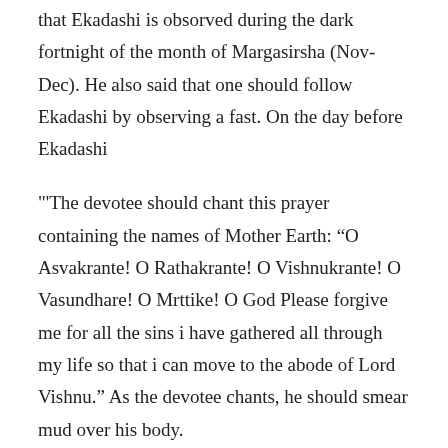that Ekadashi is obsorved during the dark fortnight of the month of Margasirsha (Nov-Dec). He also said that one should follow Ekadashi by observing a fast. On the day before Ekadashi
"'The devotee should chant this prayer containing the names of Mother Earth: “O Asvakrante! O Rathakrante! O Vishnukrante! O Vasundhare! O Mrttike! O God Please forgive me for all the sins i have gathered all through my life so that i can move to the abode of Lord Vishnu.” As the devotee chants, he should smear mud over his body.
During fasting the devotee should not speak to dog-eaters, to thieves, to those who are fallen from their religious duties, or to hypocrites. He should also avoid speaking with slanderers;